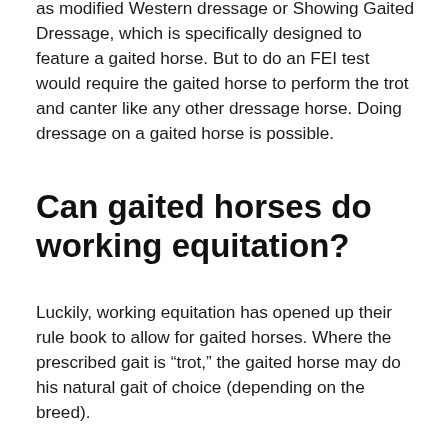as modified Western dressage or Showing Gaited Dressage, which is specifically designed to feature a gaited horse. But to do an FEI test would require the gaited horse to perform the trot and canter like any other dressage horse. Doing dressage on a gaited horse is possible.
Can gaited horses do working equitation?
Luckily, working equitation has opened up their rule book to allow for gaited horses. Where the prescribed gait is “trot,” the gaited horse may do his natural gait of choice (depending on the breed).